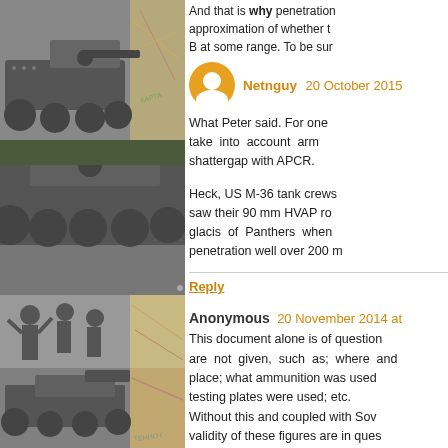[Figure (photo): Black and white photos of WWII tanks and soldiers arranged in a grid collage on the left side of the page, overlaid on a map background]
And that is why penetration approximation of whether t... B at some range. To be sur...
Netnguy  20 October 2015
What Peter said. For one take into account arm... shattergap with APCR.
Heck, US M-36 tank crews saw their 90 mm HVAP ro... glacis of Panthers when ... penetration well over 200 m...
Reply
Anonymous  20 November 2014 at
This document alone is of question... are not given, such as; where and... place; what ammunition was used... testing plates were used; etc. Without this and coupled with Sov... validity of these figures are in ques...